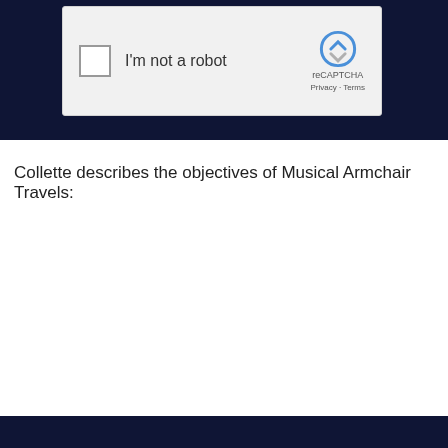[Figure (screenshot): reCAPTCHA widget showing 'I'm not a robot' checkbox with reCAPTCHA logo, Privacy and Terms links, on dark navy background]
Collette describes the objectives of Musical Armchair Travels:
[Figure (screenshot): Vimeo 'Verify to continue' overlay on dark navy background showing 'Verify to continue' heading, Vimeo logo watermark, and text 'We detected a failing errors from... To continue, please confirm that you're not a spambot).' with reCAPTCHA widget at bottom]